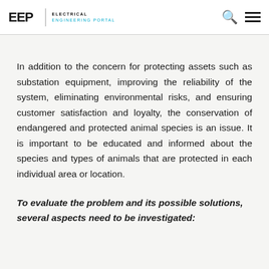EEP | ELECTRICAL ENGINEERING PORTAL
In addition to the concern for protecting assets such as substation equipment, improving the reliability of the system, eliminating environmental risks, and ensuring customer satisfaction and loyalty, the conservation of endangered and protected animal species is an issue. It is important to be educated and informed about the species and types of animals that are protected in each individual area or location.
To evaluate the problem and its possible solutions, several aspects need to be investigated: